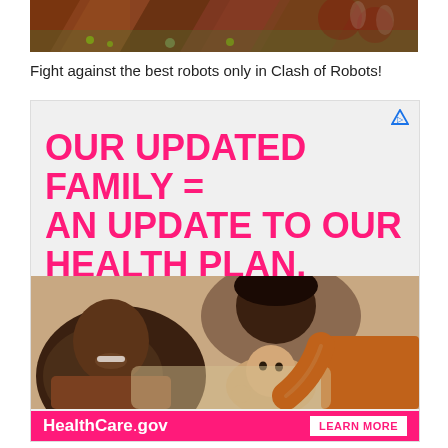[Figure (photo): Partial view of a colorful patterned image (game screenshot or artwork with geometric/tribal patterns in red, brown, green tones) cropped at top of page]
Fight against the best robots only in Clash of Robots!
[Figure (infographic): HealthCare.gov advertisement banner. Pink background with large bold pink text 'OUR UPDATED FAMILY = AN UPDATE TO OUR HEALTH PLAN.' on light gray background, with a photo of a Black father, a woman, and a baby lying together, and a pink footer bar with 'HealthCare.gov' in white and a 'LEARN MORE' button.]